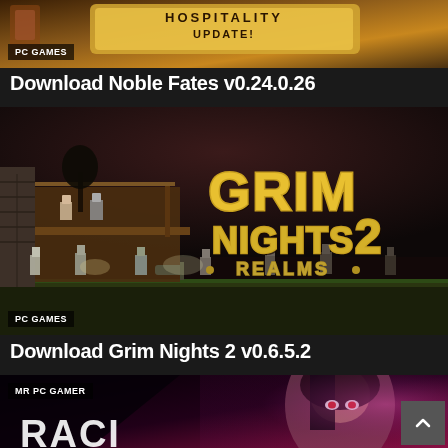[Figure (screenshot): Noble Fates PC game screenshot showing Hospitality Update banner, partially cropped at top]
Download Noble Fates v0.24.0.26
[Figure (screenshot): Grim Nights 2 Realms PC game screenshot showing pixel art characters fighting undead with golden game logo text]
Download Grim Nights 2 v0.6.5.2
[Figure (screenshot): Third PC game screenshot partially visible at bottom, showing a dark haired character with glowing eyes on pink/purple background with MR PC GAMER badge]